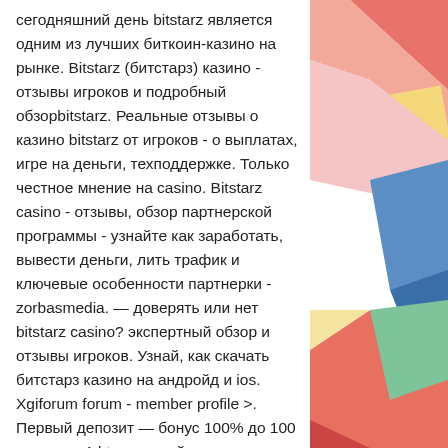сегодняшний день bitstarz является одним из лучших биткоин-казино на рынке. Bitstarz (битстарз) казино - отзывы игроков и подробный обзорbitstarz. Реальные отзывы о казино bitstarz от игроков - о выплатах, игре на деньги, техподдержке. Только честное мнение на casino. Bitstarz casino - отзывы, обзор партнерской программы - узнайте как заработать, вывести деньги, лить трафик и ключевые особенности партнерки - zorbasmedia. — доверять или нет bitstarz casino? экспертный обзор и отзывы игроков. Узнай, как скачать битстарз казино на андройд и ios. Xgiforum forum - member profile &gt;. Первый депозит — бонус 100% до 100 евро или 1 btc; · второй депозит — бонус 50% до 100 € / 1btc, · третий депозит — бонус 50% до. [25-03-2022] отзывы про казино bitstarz ✓ от настоящих игроков. Все преимущества и недостатки онлайн заведения. Актуальная
[Figure (illustration): Decorative geometric shapes in coral/red, yellow, blue, green, and pink arranged in an abstract collage on the right side of the page.]